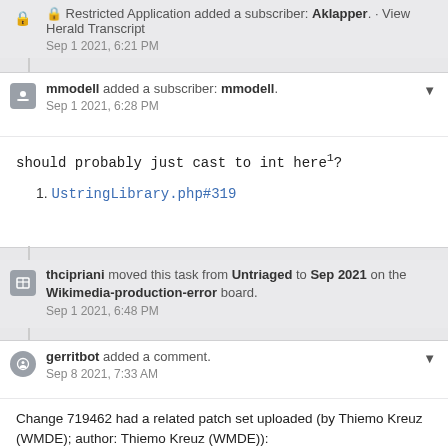Restricted Application added a subscriber: Aklapper. · View Herald Transcript
Sep 1 2021, 6:21 PM
mmodell added a subscriber: mmodell.
Sep 1 2021, 6:28 PM
should probably just cast to int here¹?
1. UstringLibrary.php#319
thcipriani moved this task from Untriaged to Sep 2021 on the Wikimedia-production-error board.
Sep 1 2021, 6:48 PM
gerritbot added a comment.
Sep 8 2021, 7:33 AM
Change 719462 had a related patch set uploaded (by Thiemo Kreuz (WMDE); author: Thiemo Kreuz (WMDE)):